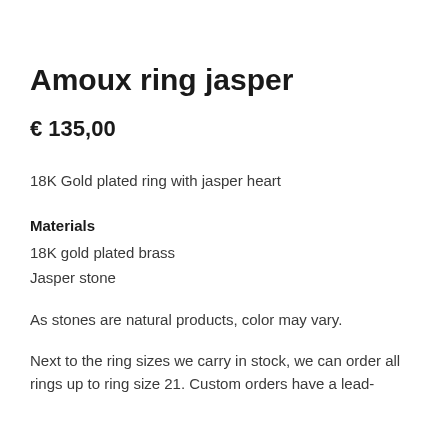Amoux ring jasper
€ 135,00
18K Gold plated ring with jasper heart
Materials
18K gold plated brass
Jasper stone
As stones are natural products, color may vary.
Next to the ring sizes we carry in stock, we can order all rings up to ring size 21. Custom orders have a lead-